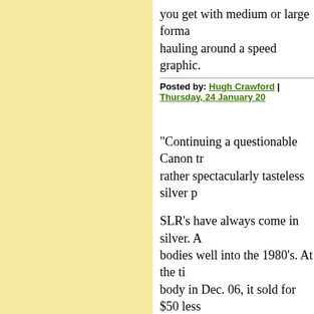you get with medium or large forma... hauling around a speed graphic.
Posted by: Hugh Crawford | Thursday, 24 January 20...
"Continuing a questionable Canon tr... rather spectacularly tasteless silver p...
SLR's have always come in silver. A... bodies well into the 1980's. At the ti... body in Dec. 06, it sold for $50 less... tell, it takes the same great pix and 5... shooting, I'm concentrating on the sh... chartreuse for all I know.
Posted by: Ron | Friday, 25 January 2008 at 01:11 AM...
I agree totally with the above poster... unused, I switch between my FZ8 a...
Posted by: Richard Alan Fox | Friday, 25 January 200...